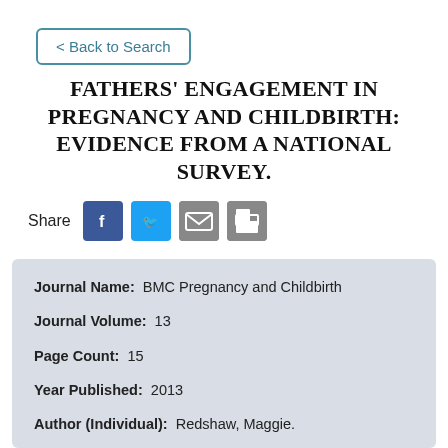< Back to Search
FATHERS' ENGAGEMENT IN PREGNANCY AND CHILDBIRTH: EVIDENCE FROM A NATIONAL SURVEY.
Share
| Field | Value |
| --- | --- |
| Journal Name: | BMC Pregnancy and Childbirth |
| Journal Volume: | 13 |
| Page Count: | 15 |
| Year Published: | 2013 |
| Author (Individual): | Redshaw, Maggie. |